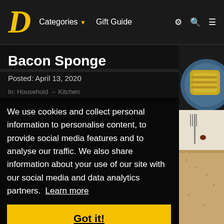D  Categories ▼  Gift Guide
Bacon Sponge
Posted: April 13, 2020
In: Household → Kitchen
We use cookies and collect personal information to personalise content, to provide social media features and to analyse our traffic. We also share information about your use of our site with our social media and data analytics partners. Learn more
Got it!